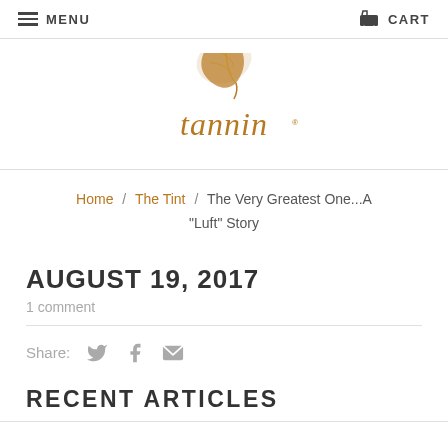MENU   CART
[Figure (logo): Tannin logo: a sketched leaf above the word 'tannin' in brown serif font]
Home / The Tint / The Very Greatest One...A "Luft" Story
AUGUST 19, 2017
1 comment
Share:
RECENT ARTICLES